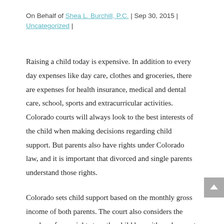On Behalf of Shea L. Burchill, P.C. | Sep 30, 2015 | Uncategorized |
Raising a child today is expensive. In addition to every day expenses like day care, clothes and groceries, there are expenses for health insurance, medical and dental care, school, sports and extracurricular activities. Colorado courts will always look to the best interests of the child when making decisions regarding child support. But parents also have rights under Colorado law, and it is important that divorced and single parents understand those rights.
Colorado sets child support based on the monthly gross income of both parents. The court also considers the number of overnight stays the child has with each parent every month, as well as which parent is paying for health insurance and day care.